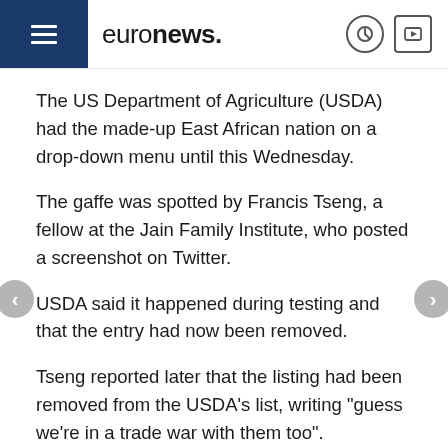euronews.
The US Department of Agriculture (USDA) had the made-up East African nation on a drop-down menu until this Wednesday.
The gaffe was spotted by Francis Tseng, a fellow at the Jain Family Institute, who posted a screenshot on Twitter.
USDA said it happened during testing and that the entry had now been removed.
Tseng reported later that the listing had been removed from the USDA's list, writing "guess we're in a trade war with them too".
USDA spokesman Mike Illenberg told NBC News in an